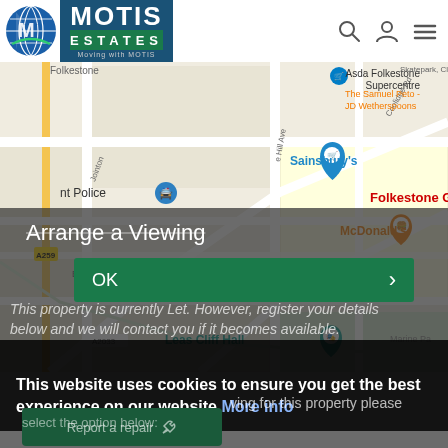[Figure (logo): Motis Estates logo with globe icon and green/blue text block reading MOTIS ESTATES Moving with MOTIS]
[Figure (map): Google Maps screenshot showing Folkestone town centre area including Sainsbury's, Asda Folkestone Supercentre, McDonald's, Leas Cliff Hall, Bouverie Rd W, Sandgate Rd, Marine Pa, Folkestone Grand H]
Arrange a Viewing
This property is currently Let. However, register your details below and we will contact you if it becomes available.
This website uses cookies to ensure you get the best experience on our website More info
OK
[Figure (screenshot): Report a repair button with wrench icon]
ving for this property please
select the option below: